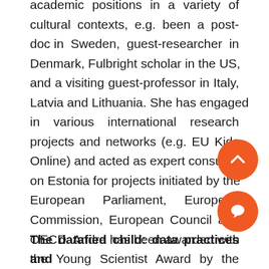academic positions in a variety of cultural contexts, e.g. been a post-doc in Sweden, guest-researcher in Denmark, Fulbright scholar in the US, and a visiting guest-professor in Italy, Latvia and Lithuania. She has engaged in various international research projects and networks (e.g. EU Kids Online) and acted as expert consultant on Estonia for projects initiated by the European Parliament, European Commission, European Council and OECD. Andra has been awarded with the Young Scientist Award by the President of Estonia (2015), Outstanding Young Person of Estonia (TOYP) award (2017) and Prof. Peeter Tulviste's memorial scholarship (2019).
The datafied child: data practices and